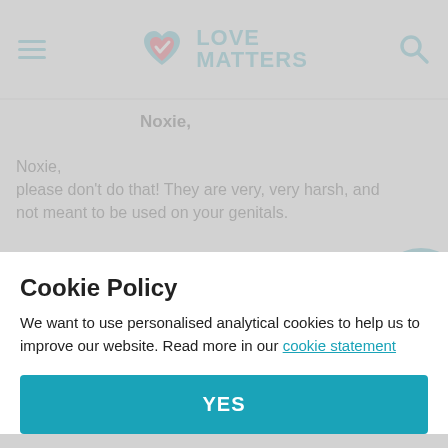Love Matters
Noxie,
Noxie,
please don't do that! They are very, very harsh, and not meant to be used on your genitals.
Reply
Cookie Policy
We want to use personalised analytical cookies to help us to improve our website. Read more in our cookie statement
YES